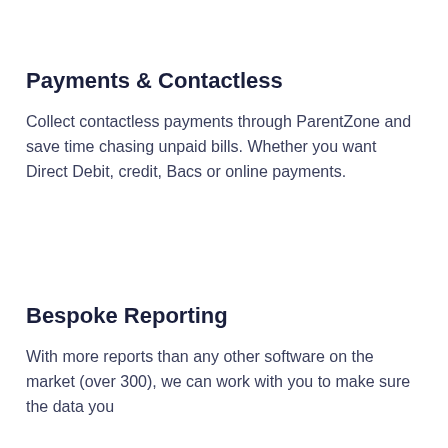Payments & Contactless
Collect contactless payments through ParentZone and save time chasing unpaid bills. Whether you want Direct Debit, credit, Bacs or online payments.
Bespoke Reporting
With more reports than any other software on the market (over 300), we can work with you to make sure the data you